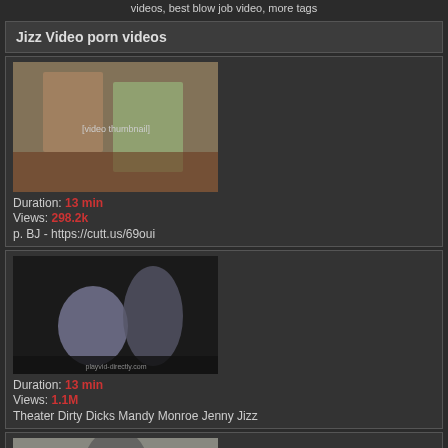videos, best blow job video, more tags
Jizz Video porn videos
[Figure (photo): Video thumbnail showing two women in a living room scene]
Duration: 13 min
Views: 298.2k
p. BJ - https://cutt.us/69oui
[Figure (photo): Video thumbnail showing a dark scene with figures]
Duration: 13 min
Views: 1.1M
Theater Dirty Dicks Mandy Monroe Jenny Jizz
[Figure (photo): Partial video thumbnail at bottom of page]